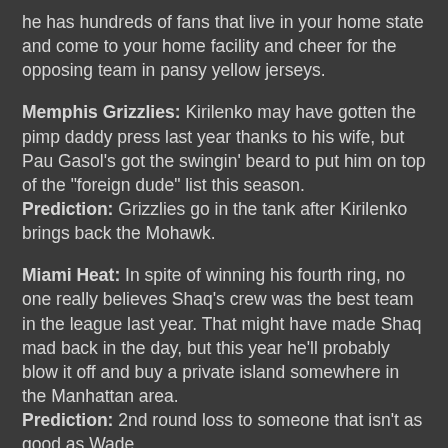he has hundreds of fans that live in your home state and come to your home facility and cheer for the opposing team in pansy yellow jerseys.
Memphis Grizzlies: Kirilenko may have gotten the pimp daddy press last year thanks to his wife, but Pau Gasol’s got the swingin’ beard to put him on top of the “foreign dude” list this season.
Prediction: Grizzlies go in the tank after Kirilenko brings back the Mohawk.
Miami Heat: In spite of winning his fourth ring, no one really believes Shaq’s crew was the best team in the league last year. That might have made Shaq mad back in the day, but this year he’ll probably blow it off and buy a private island somewhere in the Manhattan area.
Prediction: 2nd round loss to someone that isn’t as good as Wade.
Milwaukee Bucks: I went to the University of Utah, but even I had trouble putting the name Bogut up there with Kareem, Wilt, and Russell. My vote is they try to get that sausage